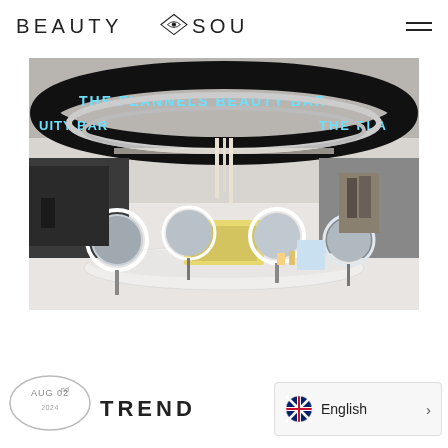BEAUTY SOURCE — navigation header with logo and hamburger menu
[Figure (photo): Interior photo of The Flannels Beauty Bar retail space showing a large circular LED sign reading 'THE FLANNELS BEAUTY BAR', illuminated ring mirrors, white circular counter, and cosmetics displays inside a modern store.]
AUG 02nd   TREND
English >